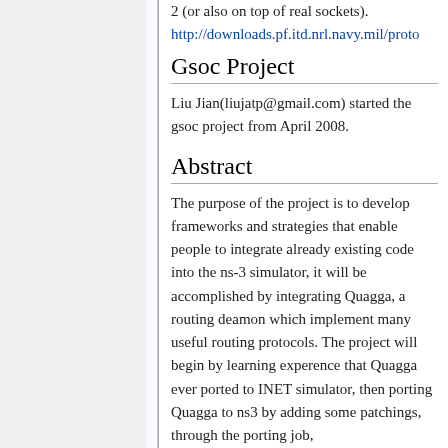2 (or also on top of real sockets). http://downloads.pf.itd.nrl.navy.mil/proto
Gsoc Project
Liu Jian(liujatp@gmail.com) started the gsoc project from April 2008.
Abstract
The purpose of the project is to develop frameworks and strategies that enable people to integrate already existing code into the ns-3 simulator, it will be accomplished by integrating Quagga, a routing deamon which implement many useful routing protocols. The project will begin by learning experence that Quagga ever ported to INET simulator, then porting Quagga to ns3 by adding some patchings, through the porting job, summariced,documented and structured